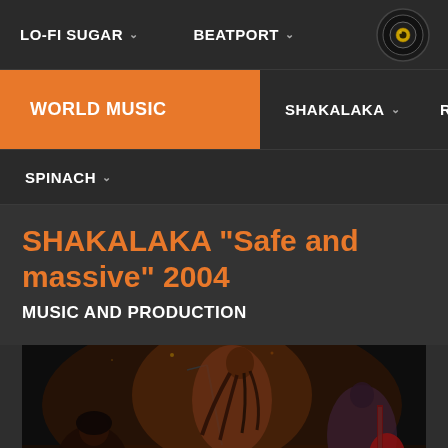LO-FI SUGAR | BEATPORT
WORLD MUSIC | SHAKALAKA | REMIXES
SPINACH
SHAKALAKA "Safe and massive" 2004
MUSIC AND PRODUCTION
[Figure (photo): Live concert photo showing musicians performing on stage; a vocalist with dreadlocks singing into a microphone, and a guitarist with a red guitar visible on the right]